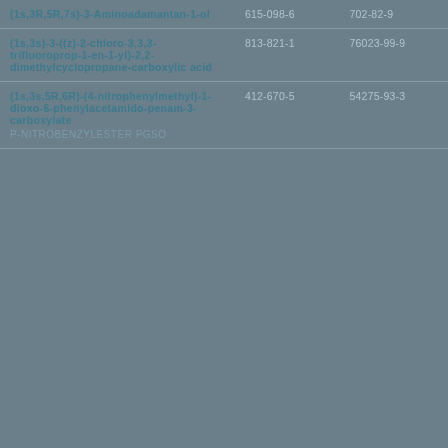| Name | EC Number | CAS Number |
| --- | --- | --- |
| (1s,3R,5R,7s)-3-Aminoadamantan-1-ol | 615-098-6 | 702-82-9 |
| (1s,3s)-3-((z)-2-chloro-3,3,3-trifluoroprop-1-en-1-yl)-2,2-dimethylcyclopropane-carboxylic acid | 813-821-1 | 76023-99-9 |
| (1s,3s,5R,6R)-(4-nitrophenylmethyl)-1-dioxo-6-phenylacetamido-penam-3-carboxylate
P-NITROBENZYLESTER PGSO | 412-670-5 | 54275-93-3 |
Pa
Previous